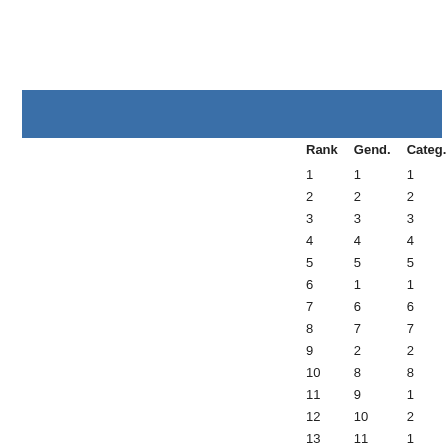[Figure (other): Blue horizontal bar spanning most of the page width]
| Rank | Gend. | Categ. | Bib |
| --- | --- | --- | --- |
| 1 | 1 | 1 | 1379 |
| 2 | 2 | 2 | 5193 |
| 3 | 3 | 3 | 5000 |
| 4 | 4 | 4 | 5196 |
| 5 | 5 | 5 | 5000 |
| 6 | 1 | 1 | 5199 |
| 7 | 6 | 6 | 5000 |
| 8 | 7 | 7 | 5197 |
| 9 | 2 | 2 | 5146 |
| 10 | 8 | 8 | 5359 |
| 11 | 9 | 1 | 5002 |
| 12 | 10 | 2 | 5195 |
| 13 | 11 | 1 | 5304 |